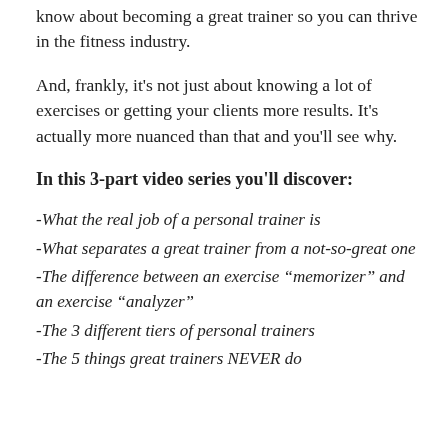know about becoming a great trainer so you can thrive in the fitness industry.
And, frankly, it's not just about knowing a lot of exercises or getting your clients more results. It's actually more nuanced than that and you'll see why.
In this 3-part video series you'll discover:
-What the real job of a personal trainer is
-What separates a great trainer from a not-so-great one
-The difference between an exercise “memorizer” and an exercise “analyzer”
-The 3 different tiers of personal trainers
-The 5 things great trainers NEVER do